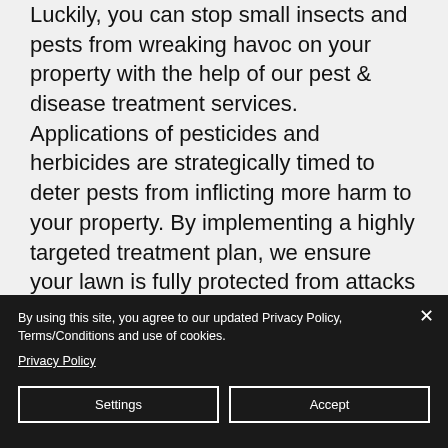Luckily, you can stop small insects and pests from wreaking havoc on your property with the help of our pest & disease treatment services. Applications of pesticides and herbicides are strategically timed to deter pests from inflicting more harm to your property. By implementing a highly targeted treatment plan, we ensure your lawn is fully protected from attacks in the future.
By using this site, you agree to our updated Privacy Policy, Terms/Conditions and use of cookies. Privacy Policy
Settings
Accept